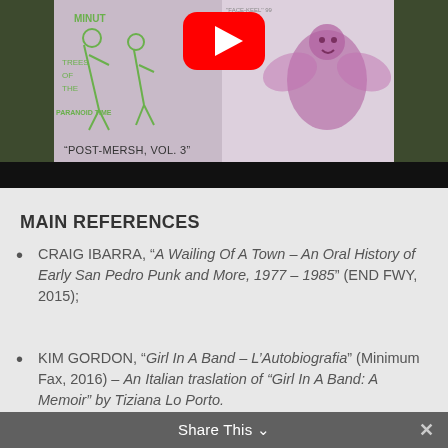[Figure (screenshot): YouTube video thumbnail showing album artwork for 'Post-Mersh, Vol. 3' with a YouTube play button overlay, set against a dark olive/green background with a black bar at the bottom.]
MAIN REFERENCES
CRAIG IBARRA, “A Wailing Of A Town – An Oral History of Early San Pedro Punk and More, 1977 – 1985” (END FWY, 2015);
KIM GORDON, “Girl In A Band – L'Autobiografia” (Minimum Fax, 2016) – An Italian traslation of “Girl In A Band: A Memoir” by Tiziana Lo Porto.
Share This